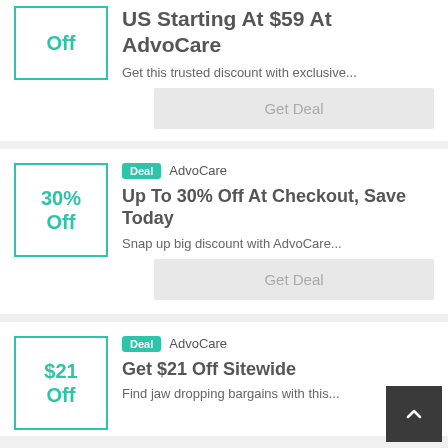[Figure (other): Discount box showing 'Off' text with teal border]
US Starting At $59 At AdvoCare
Get this trusted discount with exclusive...
Get Deal
[Figure (other): Discount box showing '30% Off' with teal border]
Deal  AdvoCare
Up To 30% Off At Checkout, Save Today
Snap up big discount with AdvoCare...
Get Deal
[Figure (other): Discount box showing '$21 Off' with teal border]
Deal  AdvoCare
Get $21 Off Sitewide
Find jaw dropping bargains with this...